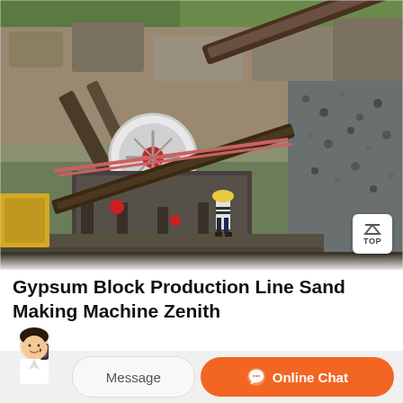[Figure (photo): Outdoor mining/quarry site with industrial sand-making and crushing machinery. Conveyor belts, jaw crusher with red flywheel, structural steel supports, rock piles, and a worker in a yellow hard hat visible in the foreground.]
Gypsum Block Production Line Sand Making Machine Zenith
Gypsum block production line is an emerging technology. It adopts international advanced block making machine technology and PLC...